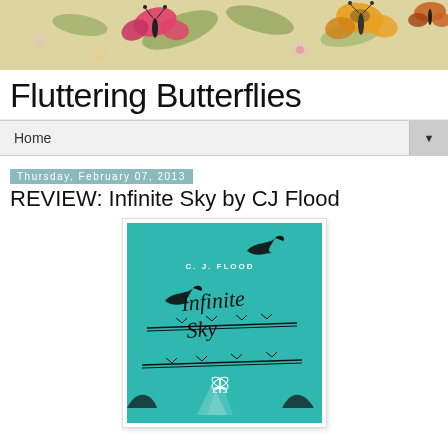[Figure (illustration): Header banner with illustrated butterflies and flowers on a beige/cream background. Colorful butterflies including pink and yellow-orange ones visible against floral background.]
Fluttering Butterflies
Home
Thursday, February 07, 2013
REVIEW: Infinite Sky by CJ Flood
[Figure (illustration): Book cover of 'Infinite Sky' by C.J. Flood. Teal/turquoise background with two black swallow silhouettes flying, cursive script title 'Infinite Sky' written on and around barbed wire. White dragonfly illustration at bottom. Author name 'C. J. FLOOD' in small caps near top.]